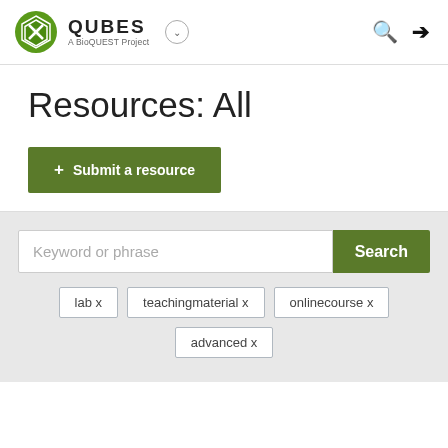[Figure (logo): QUBES - A BioQUEST Project logo with green hexagonal icon]
Resources: All
Submit a resource
Keyword or phrase
Search
lab x
teachingmaterial x
onlinecourse x
advanced x